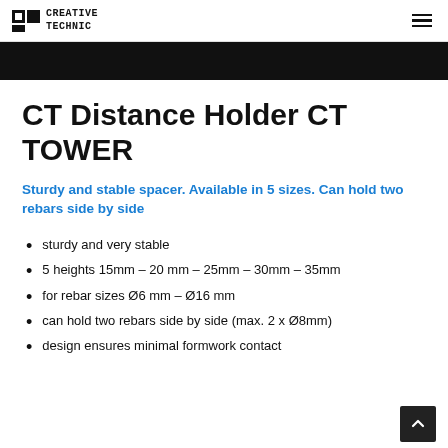CREATIVE TECHNIC
CT Distance Holder CT TOWER
Sturdy and stable spacer. Available in 5 sizes. Can hold two rebars side by side
sturdy and very stable
5 heights 15mm – 20 mm – 25mm – 30mm – 35mm
for rebar sizes Ø6 mm – Ø16 mm
can hold two rebars side by side (max. 2 x Ø8mm)
design ensures minimal formwork contact